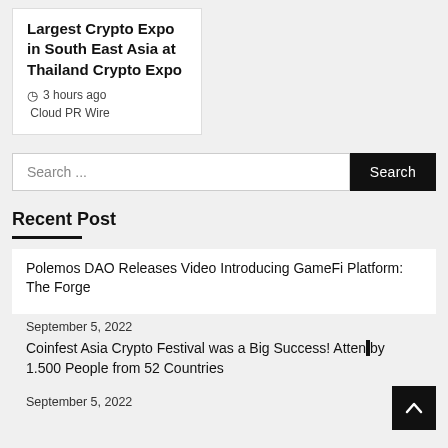Largest Crypto Expo in South East Asia at Thailand Crypto Expo
3 hours ago  Cloud PR Wire
Search ...
Recent Post
Polemos DAO Releases Video Introducing GameFi Platform: The Forge
September 5, 2022
Coinfest Asia Crypto Festival was a Big Success! Attended by 1.500 People from 52 Countries
September 5, 2022